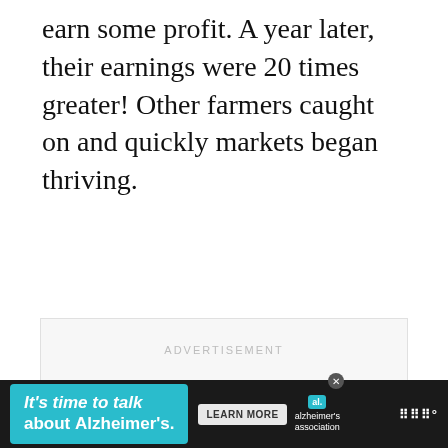earn some profit. A year later, their earnings were 20 times greater! Other farmers caught on and quickly markets began thriving.
[Figure (other): Advertisement placeholder box with 'ADVERTISEMENT' label in light gray text, followed by three pagination dots below]
[Figure (other): Bottom banner advertisement for Alzheimer's Association: 'It's time to talk about Alzheimer's.' with Learn More button, Alzheimer's Association logo, and Wayfair logo on dark background]